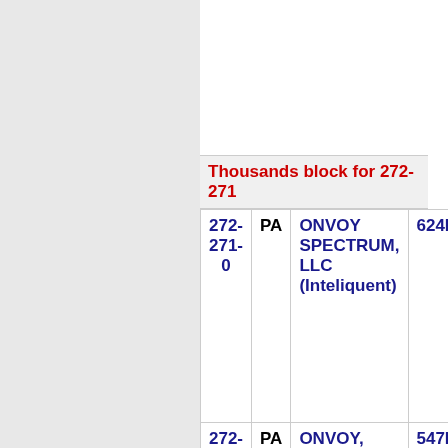Thousands block for 272-271
| Number | State | Company | Code |
| --- | --- | --- | --- |
| 272-271-0 | PA | ONVOY SPECTRUM, LLC (Inteliquent) | 624H S |
| 272-271-1 | PA | ONVOY, LLC - PA (Inteliquent) | 547E S |